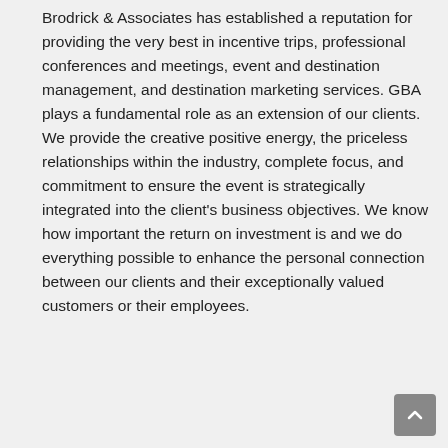Brodrick & Associates has established a reputation for providing the very best in incentive trips, professional conferences and meetings, event and destination management, and destination marketing services. GBA plays a fundamental role as an extension of our clients. We provide the creative positive energy, the priceless relationships within the industry, complete focus, and commitment to ensure the event is strategically integrated into the client's business objectives. We know how important the return on investment is and we do everything possible to enhance the personal connection between our clients and their exceptionally valued customers or their employees.